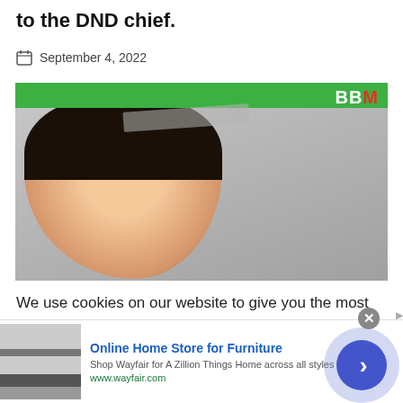to the DND chief.
September 4, 2022
[Figure (photo): Photo of a smiling Asian man (BBM), with a green bar at top bearing the BBM logo, and a blurred background figure.]
We use cookies on our website to give you the most relevant experience by remembering your preferences and repeat visits. By clicking “Accept”, you consent to the use
infolinks
[Figure (other): Advertisement: Online Home Store for Furniture - Shop Wayfair for A Zillion Things Home across all styles. www.wayfair.com]